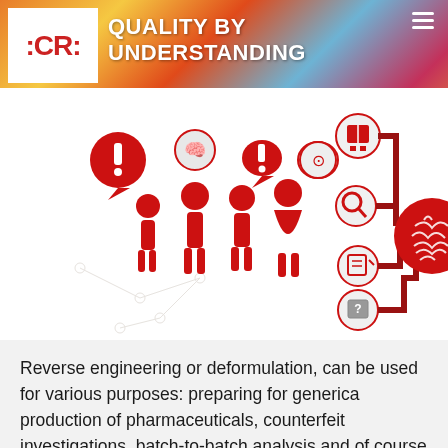[Figure (infographic): Website header with :CR: logo on white background, 'QUALITY BY UNDERSTANDING' text in white bold, colorful abstract painted background, hamburger menu icon top right. Below: infographic showing red silhouetted figures with speech bubbles (exclamation marks, brain/molecule icons), connected by red lines to icons (book, magnifying glass, clipboard, question cube) flowing into a large red brain circle icon on the right.]
Reverse engineering or deformulation, can be used for various purposes: preparing for generica production of pharmaceuticals, counterfeit investigations, batch-to-batch analysis and of course for understanding